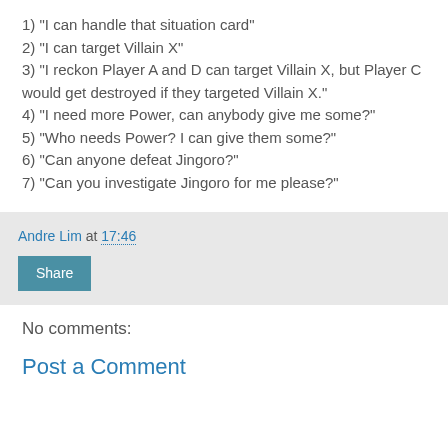1) "I can handle that situation card"
2) "I can target Villain X"
3) "I reckon Player A and D can target Villain X, but Player C would get destroyed if they targeted Villain X."
4) "I need more Power, can anybody give me some?"
5) "Who needs Power? I can give them some?"
6) "Can anyone defeat Jingoro?"
7) "Can you investigate Jingoro for me please?"
Andre Lim at 17:46
Share
No comments:
Post a Comment